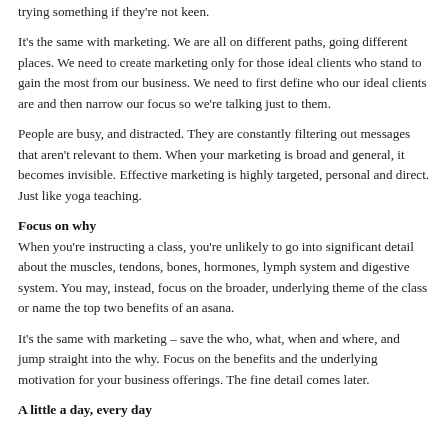trying something if they're not keen.
It's the same with marketing. We are all on different paths, going different places. We need to create marketing only for those ideal clients who stand to gain the most from our business. We need to first define who our ideal clients are and then narrow our focus so we're talking just to them.
People are busy, and distracted. They are constantly filtering out messages that aren't relevant to them. When your marketing is broad and general, it becomes invisible. Effective marketing is highly targeted, personal and direct. Just like yoga teaching.
Focus on why
When you're instructing a class, you're unlikely to go into significant detail about the muscles, tendons, bones, hormones, lymph system and digestive system. You may, instead, focus on the broader, underlying theme of the class or name the top two benefits of an asana.
It's the same with marketing – save the who, what, when and where, and jump straight into the why. Focus on the benefits and the underlying motivation for your business offerings. The fine detail comes later.
A little a day, every day